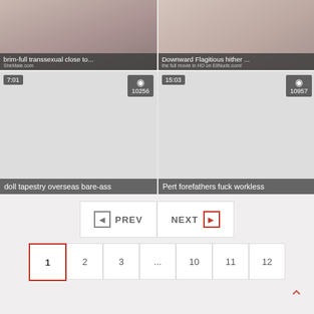[Figure (screenshot): Video thumbnail top-left: brim-full transsexual close to...]
[Figure (screenshot): Video thumbnail top-right: Downward Flagitious hither ...]
[Figure (screenshot): Video thumbnail bottom-left: doll tapestry overseas bare-ass, duration 7:01, views 10256]
[Figure (screenshot): Video thumbnail bottom-right: Pert forefathers fuck workless, duration 15:03, views 10957]
PREV
NEXT
1 2 3 ... 10 11 12